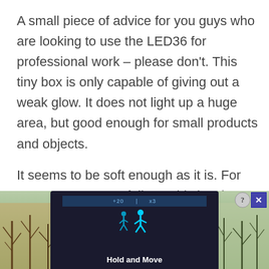A small piece of advice for you guys who are looking to use the LED36 for professional work – please don't. This tiny box is only capable of giving out a weak glow. It does not light up a huge area, but good enough for small products and objects.
It seems to be soft enough as it is. For you camera savvy folks – This is taken with D610
[Figure (photo): Advertisement overlay showing a mobile app with 'Hold and Move' button, displayed over a background of trees. Contains a close button with help (?) and X icons in top right corner.]